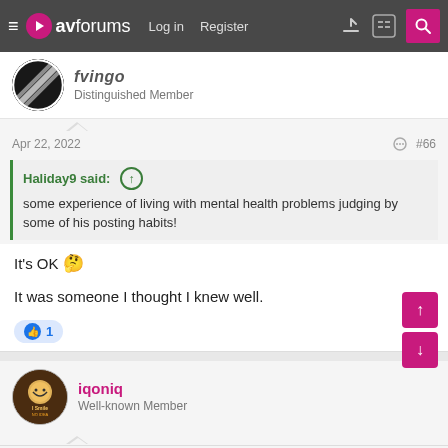avforums — Log in | Register
fvings
Distinguished Member
Apr 22, 2022 #66
Haliday9 said: some experience of living with mental health problems judging by some of his posting habits!
It's OK 🤔
It was someone I thought I knew well.
iqoniq
Well-known Member
Apr 22, 2022 #67